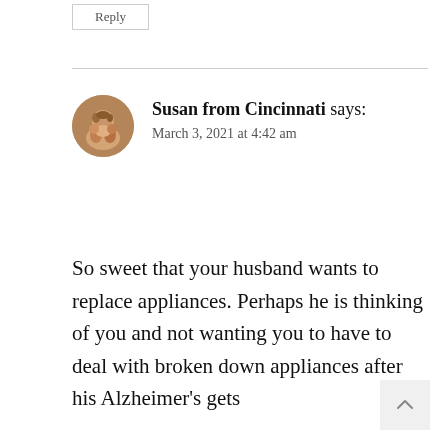Reply
Susan from Cincinnati says: March 3, 2021 at 4:42 am
So sweet that your husband wants to replace appliances. Perhaps he is thinking of you and not wanting you to have to deal with broken down appliances after his Alzheimer’s gets